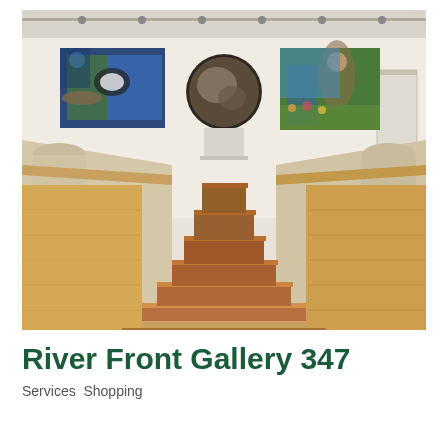[Figure (photo): Interior of River Front Gallery 347 showing a bright white gallery space with wooden stairs leading up in the center, wooden handrails on both sides with arched niches in the walls. Three large artworks hang on the back wall: a rectangular painting on the left showing a figure with animals in blue/green tones, a circular painting in the center, and a large rectangular painting on the right showing a woman in a colorful natural setting. Track lighting on the ceiling illuminates the space.]
River Front Gallery 347
Services  Shopping